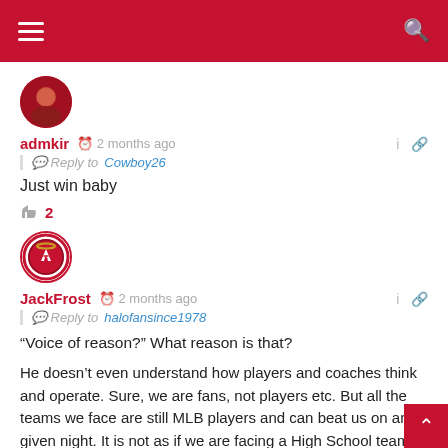Navigation bar with hamburger menu and search icon
[Figure (photo): Circular avatar of user admkir, red toned photo]
admkir   2 months ago
Reply to Cowboy26
Just win baby
2 (likes)
[Figure (logo): Circular avatar with Angels baseball team logo for user JackFrost]
JackFrost   2 months ago
Reply to halofansince1978
“Voice of reason?” What reason is that?
He doesn’t even understand how players and coaches think and operate. Sure, we are fans, not players etc. But all the teams we face are still MLB players and can beat us on any given night. It is not as if we are facing a High School team that literally has zero chance of